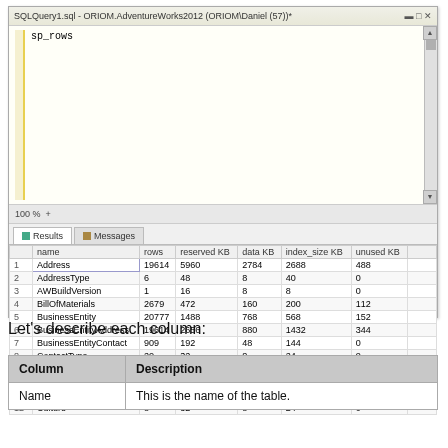[Figure (screenshot): SQL Server Management Studio screenshot showing query 'sp_rows' executed against AdventureWorks2012 database with results table showing name, rows, reserved KB, data KB, index_size KB, unused KB columns for 12 visible rows. Status bar shows 'Query executed successfully. ORIOM (14.0 RTM) ORIOM\Daniel (57) AdventureWorks2012 00:00:00 73 rows']
Let's describe each column:
| Column | Description |
| --- | --- |
| Name | This is the name of the table. |